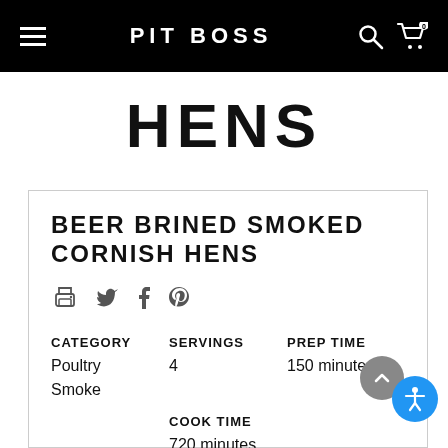PIT BOSS
HENS
BEER BRINED SMOKED CORNISH HENS
| CATEGORY | SERVINGS | PREP TIME |
| --- | --- | --- |
| Poultry
Smoke | 4 | 150 minutes |
|  | COOK TIME |  |
|  | 720 minutes |  |